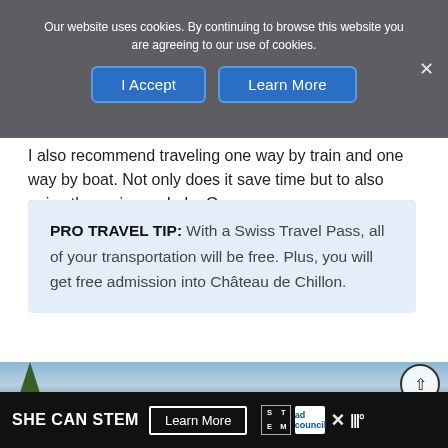and dinner in Montreux and Vevey.
Our website uses cookies. By continuing to browse this website you are agreeing to our use of cookies.
I Accept | Learn More
I also recommend traveling one way by train and one way by boat. Not only does it save time but to also enjoy the cruise on Lake Geneva.
PRO TRAVEL TIP: With a Swiss Travel Pass, all of your transportation will be free. Plus, you will get free admission into Château de Chillon.
[Figure (photo): Partial outdoor photo showing trees against a blue sky with clouds]
SHE CAN STEM  Learn More